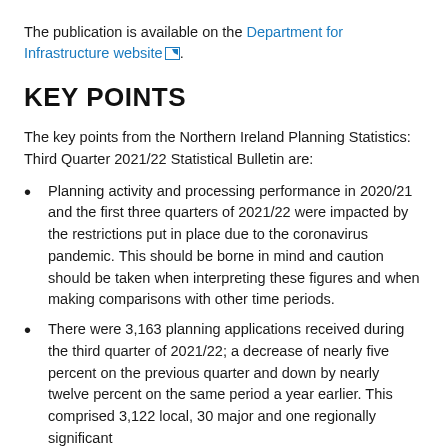The publication is available on the Department for Infrastructure website.
KEY POINTS
The key points from the Northern Ireland Planning Statistics: Third Quarter 2021/22 Statistical Bulletin are:
Planning activity and processing performance in 2020/21 and the first three quarters of 2021/22 were impacted by the restrictions put in place due to the coronavirus pandemic. This should be borne in mind and caution should be taken when interpreting these figures and when making comparisons with other time periods.
There were 3,163 planning applications received during the third quarter of 2021/22; a decrease of nearly five percent on the previous quarter and down by nearly twelve percent on the same period a year earlier. This comprised 3,122 local, 30 major and one regionally significant